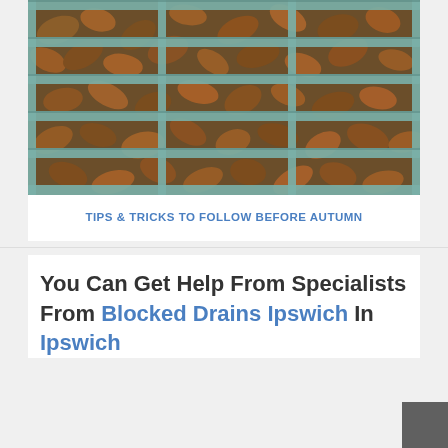[Figure (photo): Close-up photo of a metal drain grate covered with dry autumn leaves (brown/orange colored). The grate has horizontal and vertical metal bars with a weathered, teal/green patina. Leaves are packed between the bars.]
TIPS & TRICKS TO FOLLOW BEFORE AUTUMN
You Can Get Help From Specialists From Blocked Drains Ipswich In Ipswich